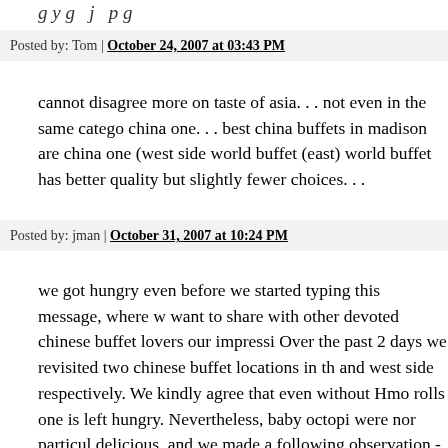g y g j p g
Posted by: Tom | October 24, 2007 at 03:43 PM
cannot disagree more on taste of asia. . . not even in the same catego china one. . . best china buffets in madison are china one (west side world buffet (east) world buffet has better quality but slightly fewer choices. . .
Posted by: jman | October 31, 2007 at 10:24 PM
we got hungry even before we started typing this message, where w want to share with other devoted chinese buffet lovers our impressi Over the past 2 days we revisited two chinese buffet locations in th and west side respectively. We kindly agree that even without Hmo rolls one is left hungry. Nevertheless, baby octopi were nor particul delicious, and we made a following observation - after a while the v tips of their tentacles cooled down compared to the octopus body. W were sincerely hoping that we find there a tortoise soup - you know those big chinese turtles, and panda tails salad with "great wall" dre